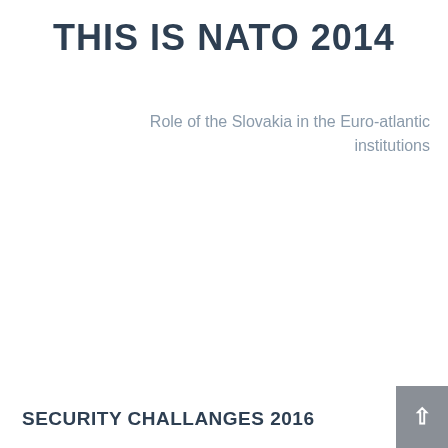THIS IS NATO 2014
Role of the Slovakia in the Euro-atlantic institutions
SECURITY CHALLANGES 2016